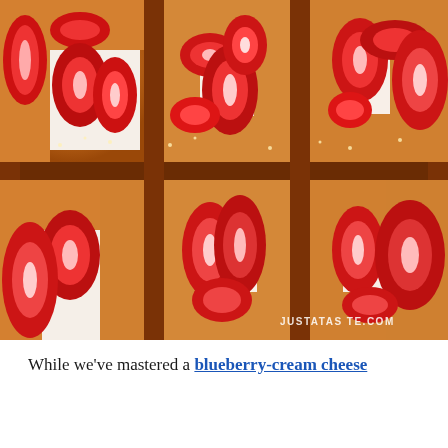[Figure (photo): Close-up overhead photo of strawberry cream cheese puff pastry tarts arranged in a grid. Golden-brown flaky pastry borders surround cream cheese filling topped with sliced fresh strawberries. Watermark reads JUSTATAS TE.COM in the lower right corner.]
While we've mastered a blueberry-cream cheese pastry, we've never tried the strawberry-and-cream version, but this is at the top of our list.